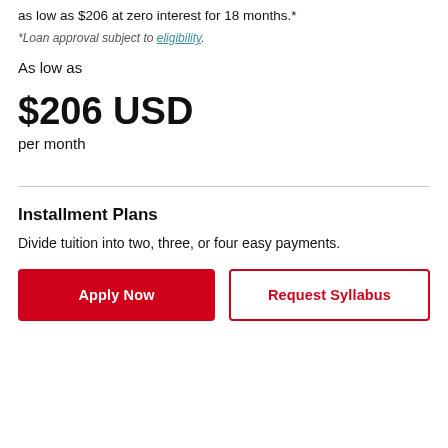as low as $206 at zero interest for 18 months.*
*Loan approval subject to eligibility.
As low as
$206 USD
per month
Installment Plans
Divide tuition into two, three, or four easy payments.
Apply Now
Request Syllabus